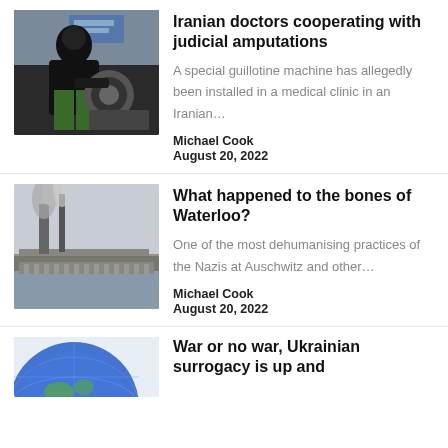[Figure (photo): Person in black mask crouching over machinery outdoors]
Iranian doctors cooperating with judicial amputations
A special guillotine machine has allegedly been installed in a medical clinic in an Iranian…
Michael Cook
August 20, 2022
[Figure (photo): Historical scene of industrial buildings with smokestacks emitting smoke]
What happened to the bones of Waterloo?
One of the most dehumanising practices of the Nazis at Auschwitz and other…
Michael Cook
August 20, 2022
[Figure (photo): Partial image of a blue globe or sphere]
War or no war, Ukrainian surrogacy is up and